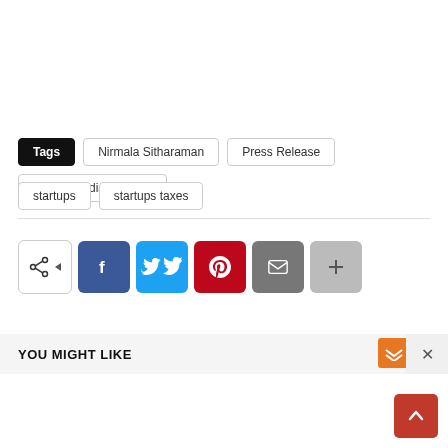Tags | Nirmala Sitharaman | Press Release | Start-up India Initiative | startups | startups taxes
[Figure (infographic): Social share bar with Facebook, Twitter, Pinterest, Email, and More buttons]
YOU MIGHT LIKE